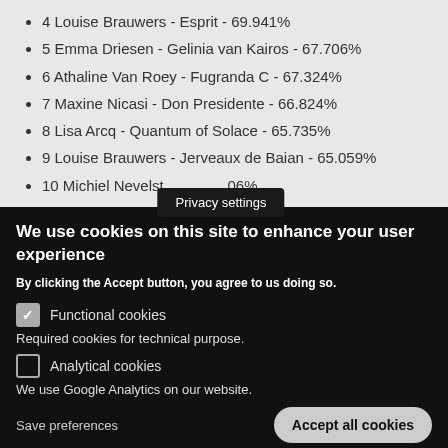4 Louise Brauwers - Esprit - 69.941%
5 Emma Driesen - Gelinia van Kairos - 67.706%
6 Athaline Van Roey - Fugranda C - 67.324%
7 Maxine Nicasi -  Don Presidente - 66.824%
8 Lisa Arcq - Quantum of Solace - 65.735%
9 Louise Brauwers - Jerveaux de Baian - 65.059%
10 Michiel Nevelst... 06%
Privacy settings
We use cookies on this site to enhance your user experience
By clicking the Accept button, you agree to us doing so.
Functional cookies
Required cookies for technical purpose.
Analytical cookies
We use Google Analytics on our website.
Save preferences
Accept all cookies